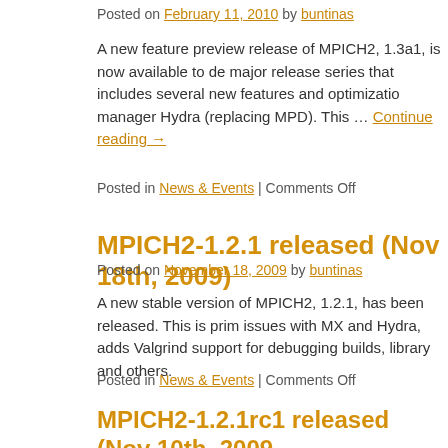Posted on February 11, 2010 by buntinas
A new feature preview release of MPICH2, 1.3a1, is now available to de… major release series that includes several new features and optimizatio… manager Hydra (replacing MPD). This … Continue reading →
Posted in News & Events | Comments Off
MPICH2-1.2.1 released (Nov 18th, 2009)
Posted on November 18, 2009 by buntinas
A new stable version of MPICH2, 1.2.1, has been released. This is prim… issues with MX and Hydra, adds Valgrind support for debugging builds,… library and others.
Posted in News & Events | Comments Off
MPICH2-1.2.1rc1 released (Nov 10th, 2009)
Posted on November 10, 2009 by buntinas
A release candidate for the next version of MPICH2, 1.2.1, has been re… release. The release candidate is meant for early trials.